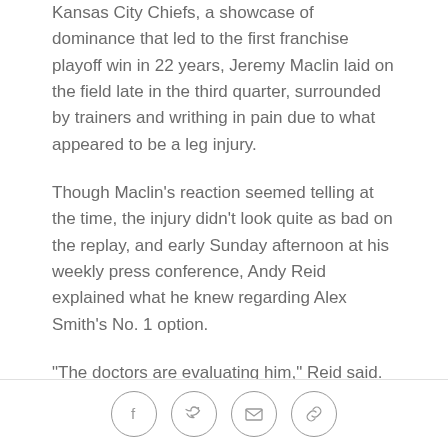Kansas City Chiefs, a showcase of dominance that led to the first franchise playoff win in 22 years, Jeremy Maclin laid on the field late in the third quarter, surrounded by trainers and writhing in pain due to what appeared to be a leg injury.
Though Maclin's reaction seemed telling at the time, the injury didn't look quite as bad on the replay, and early Sunday afternoon at his weekly press conference, Andy Reid explained what he knew regarding Alex Smith's No. 1 option.
"The doctors are evaluating him," Reid said. "Most of his pain is [more] in his ankle right now than the knee area, so we'll just have to see. We'll see what the result is here after the MRI and doctors have a chance to look at it."
[Figure (other): Row of four social sharing icon circles: Facebook (f), Twitter (bird), Email (envelope), Link/chain icon]